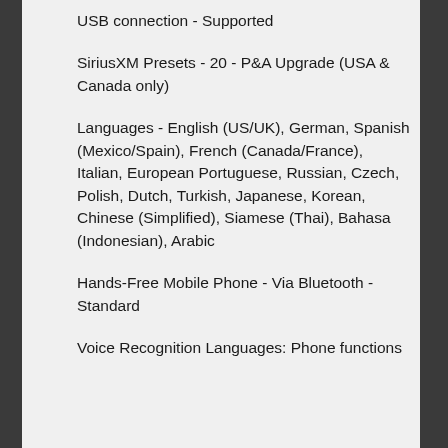USB connection - Supported
SiriusXM Presets - 20 - P&A Upgrade (USA & Canada only)
Languages - English (US/UK), German, Spanish (Mexico/Spain), French (Canada/France), Italian, European Portuguese, Russian, Czech, Polish, Dutch, Turkish, Japanese, Korean, Chinese (Simplified), Siamese (Thai), Bahasa (Indonesian), Arabic
Hands-Free Mobile Phone - Via Bluetooth - Standard
Voice Recognition Languages: Phone functions